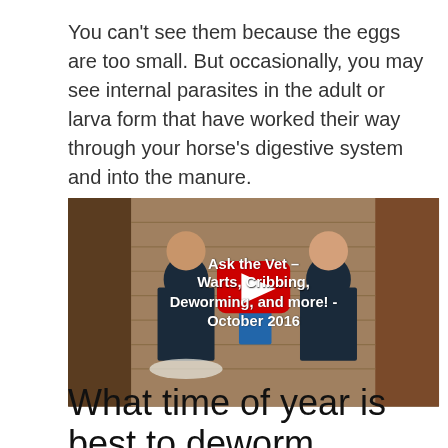You can't see them because the eggs are too small. But occasionally, you may see internal parasites in the adult or larva form that have worked their way through your horse's digestive system and into the manure.
[Figure (screenshot): YouTube video thumbnail showing two women in dark polo shirts sitting in front of a wooden wall background, with a red YouTube play button overlay. Video title text reads: Ask the Vet – Warts, Cribbing, Deworming, and more! - October 2016]
What time of year is best to deworm horses?